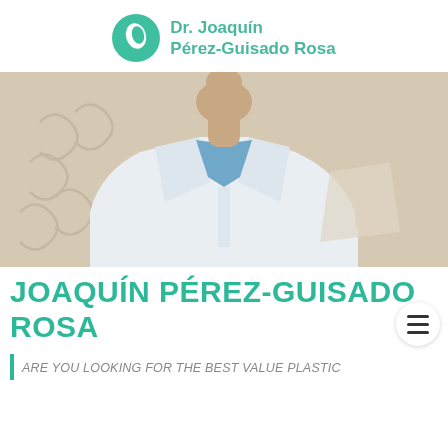[Figure (logo): Dr. Joaquín Pérez-Guisado Rosa logo with green circular leaf icon and teal text]
[Figure (photo): Middle-aged male doctor wearing white lab coat with blue shirt collar visible, photographed from chest up, no face shown (cropped at nose), clinical office background]
JOAQUÍN PÉREZ-GUISADO ROSA
ARE YOU LOOKING FOR THE BEST VALUE PLASTIC